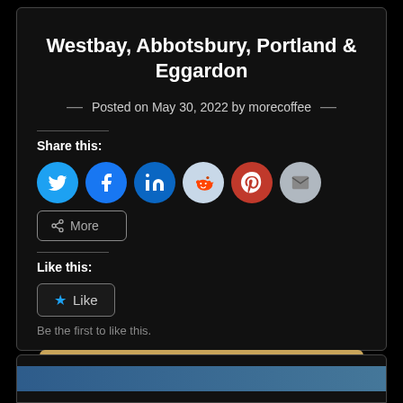Westbay, Abbotsbury, Portland & Eggardon
Posted on May 30, 2022 by morecoffee
Share this:
[Figure (other): Social share buttons: Twitter, Facebook, LinkedIn, Reddit, Pinterest, Email, More]
Like this:
[Figure (other): Like button widget with star icon]
Be the first to like this.
Continue reading